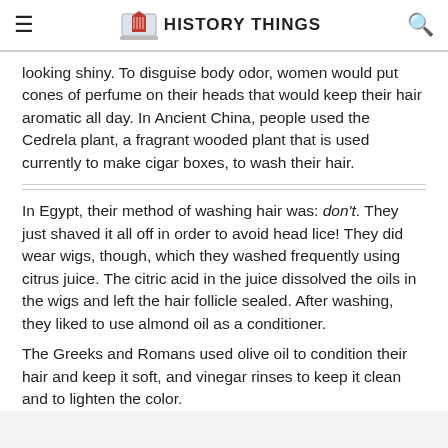HISTORY THINGS
looking shiny. To disguise body odor, women would put cones of perfume on their heads that would keep their hair aromatic all day. In Ancient China, people used the Cedrela plant, a fragrant wooded plant that is used currently to make cigar boxes, to wash their hair.
In Egypt, their method of washing hair was: don't. They just shaved it all off in order to avoid head lice! They did wear wigs, though, which they washed frequently using citrus juice. The citric acid in the juice dissolved the oils in the wigs and left the hair follicle sealed. After washing, they liked to use almond oil as a conditioner.
The Greeks and Romans used olive oil to condition their hair and keep it soft, and vinegar rinses to keep it clean and to lighten the color.